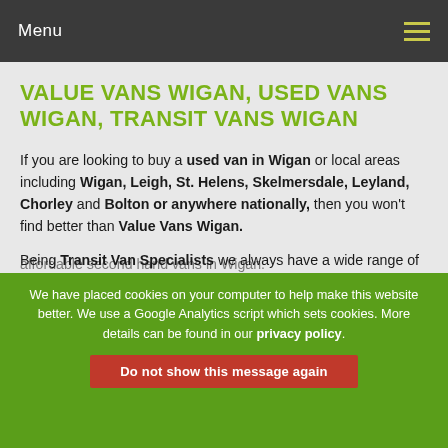Menu
VALUE VANS WIGAN, USED VANS WIGAN, TRANSIT VANS WIGAN
If you are looking to buy a used van in Wigan or local areas including Wigan, Leigh, St. Helens, Skelmersdale, Leyland, Chorley and Bolton or anywhere nationally, then you won't find better than Value Vans Wigan.
Being Transit Van Specialists we always have a wide range of second hand transit vans to choose from, any of which can be secured with just £150, you won't find a better deal on used vans in Wigan or Lancashire. Here at Value Vans Wigan we take pride in providing quality, affordable second hand vans in Wigan.
All of our vehicles undergo an extensive HPI inspection and preparation process, this enables us to provide you with a safe, appealing and mechanically sound
We have placed cookies on your computer to help make this website better. We use a Google Analytics script which sets cookies. More details can be found in our privacy policy.
Do not show this message again